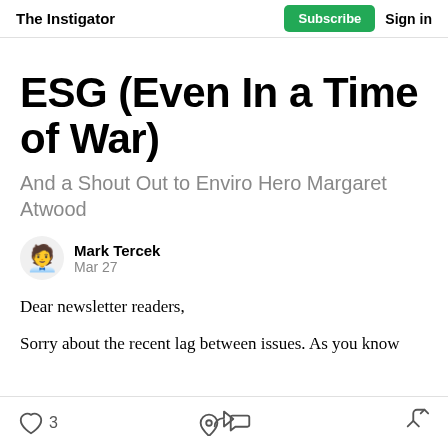The Instigator | Subscribe | Sign in
ESG (Even In a Time of War)
And a Shout Out to Enviro Hero Margaret Atwood
Mark Tercek
Mar 27
Dear newsletter readers,
Sorry about the recent lag between issues. As you know
3 likes | comment | share